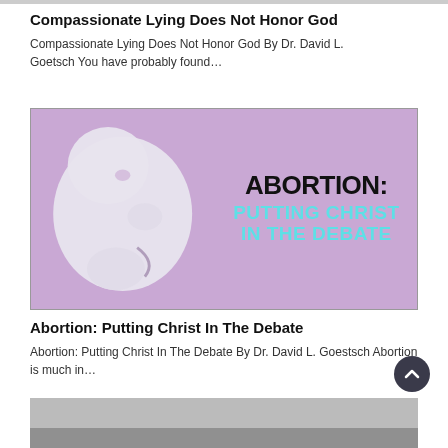Compassionate Lying Does Not Honor God
Compassionate Lying Does Not Honor God By Dr. David L. Goetsch You have probably found…
[Figure (illustration): Illustration of a white fetus silhouette on a purple/lavender background with bold text reading 'ABORTION: PUTTING CHRIST IN THE DEBATE']
Abortion: Putting Christ In The Debate
Abortion: Putting Christ In The Debate By Dr. David L. Goestsch Abortion is much in…
[Figure (photo): Partial view of a gray/overcast sky or outdoor scene at the bottom of the page]